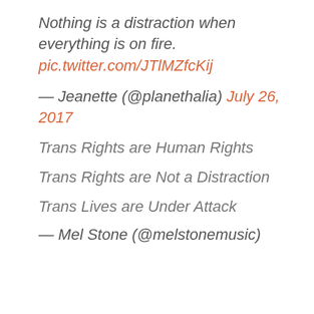Nothing is a distraction when everything is on fire. pic.twitter.com/JTlMZfcKij
— Jeanette (@planethalia) July 26, 2017
Trans Rights are Human Rights
Trans Rights are Not a Distraction
Trans Lives are Under Attack
— Mel Stone (@melstonemusic)